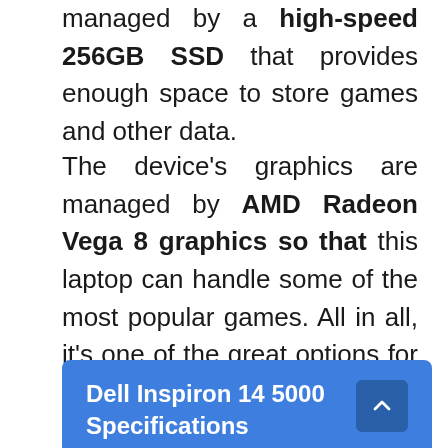managed by a high-speed 256GB SSD that provides enough space to store games and other data.
The device's graphics are managed by AMD Radeon Vega 8 graphics so that this laptop can handle some of the most popular games. All in all, it's one of the great options for low-budget gamers looking for the best budget gaming laptop on the market for less than $500 in 2022.
Dell Inspiron 14 5000 Specifications